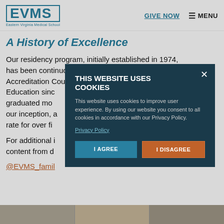EVMS Eastern Virginia Medical School | GIVE NOW | MENU
A History of Excellence
Our residency program, initially established in 1974, has been continuously accredited by the Accreditation Council for Graduate Medical Education sinc... graduated mo... our inception, a... rate for over fi...
For additional i... content from c...
@EVMS_famil...
[Figure (screenshot): Cookie consent modal overlay: 'THIS WEBSITE USES COOKIES' — This website uses cookies to improve user experience. By using our website you consent to all cookies in accordance with our Privacy Policy. [Privacy Policy link] [I AGREE button] [I DISAGREE button]]
[Figure (photo): Photo strip at bottom of page showing partial photos]